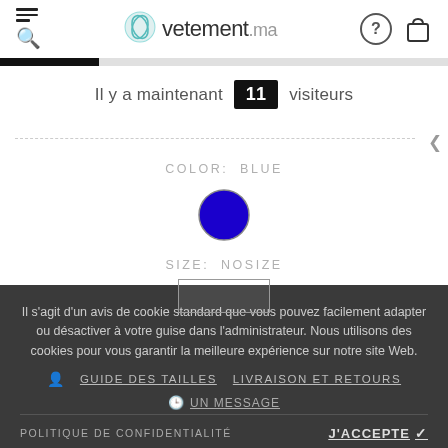[Figure (screenshot): vetement.ma website header with hamburger/search icon on left, logo in center, help and bag icons on right]
Il y a maintenant 11 visiteurs
COLOR:  BLUE
[Figure (illustration): Blue filled circle representing color swatch]
SIZE:  NOSIZE
Il s'agit d'un avis de cookie standard que vous pouvez facilement adapter ou désactiver à votre guise dans l'administrateur. Nous utilisons des cookies pour vous garantir la meilleure expérience sur notre site Web.
GUIDE DES TAILLES   LIVRAISON ET RETOURS
UN MESSAGE
POLITIQUE DE CONFIDENTIALITÉ   J'ACCEPTE ✓
REMARQUES